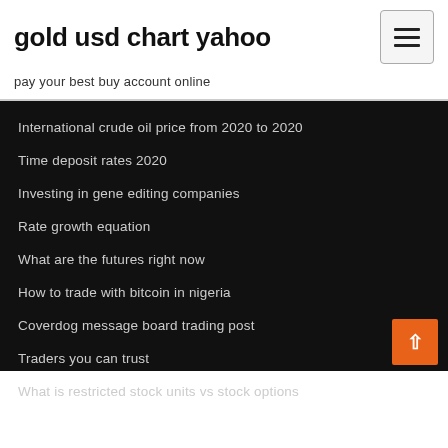gold usd chart yahoo
pay your best buy account online
International crude oil price from 2020 to 2020
Time deposit rates 2020
Investing in gene editing companies
Rate growth equation
What are the futures right now
How to trade with bitcoin in nigeria
Coverdog message board trading post
Traders you can trust
What is restricted stock units vs stock options